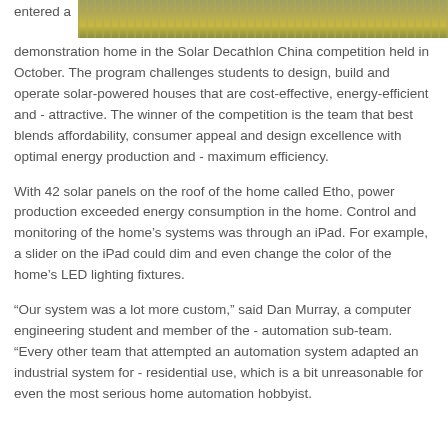[Figure (photo): Partial view of a photograph showing a solar demonstration home exterior, with grass and building visible, cropped at top of page.]
entered a demonstration home in the Solar Decathlon China competition held in October. The program challenges students to design, build and operate solar-powered houses that are cost-effective, energy-efficient and attractive. The winner of the competition is the team that best blends affordability, consumer appeal and design excellence with optimal energy production and maximum efficiency.
With 42 solar panels on the roof of the home called Etho, power production exceeded energy consumption in the home. Control and monitoring of the home’s systems was through an iPad. For example, a slider on the iPad could dim and even change the color of the home’s LED lighting fixtures.
“Our system was a lot more custom,” said Dan Murray, a computer engineering student and member of the automation sub-team. “Every other team that attempted an automation system adapted an industrial system for residential use, which is a bit unreasonable for even the most serious home automation hobbyist.